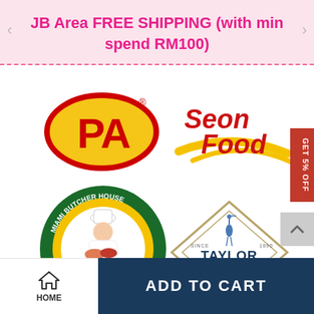JB Area FREE SHIPPING (with min spend RM100)
[Figure (logo): PA brand logo - red letters PA in a yellow oval with red border]
[Figure (logo): Seon Food logo - red and yellow stylized text with yellow swoosh]
[Figure (logo): Miami Butcher House logo - circular green and yellow badge with chef mascot]
[Figure (logo): Taylor Shellfish Farms logo - diamond shape with heron bird and text]
GET 5% OFF
HOME
ADD TO CART